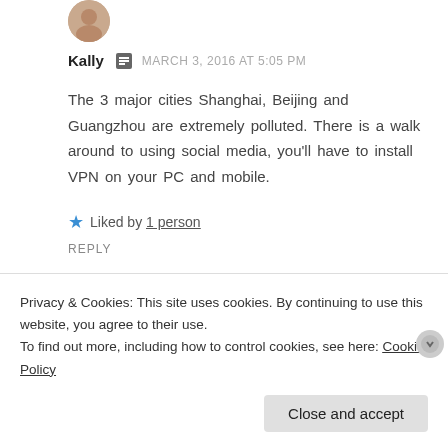[Figure (photo): Small circular avatar of a woman (Kally) at the top left of the comment]
Kally  MARCH 3, 2016 AT 5:05 PM
The 3 major cities Shanghai, Beijing and Guangzhou are extremely polluted. There is a walk around to using social media, you'll have to install VPN on your PC and mobile.
★ Liked by 1 person
REPLY
[Figure (photo): Small circular avatar of another commenter at the bottom]
Privacy & Cookies: This site uses cookies. By continuing to use this website, you agree to their use.
To find out more, including how to control cookies, see here: Cookie Policy
Close and accept